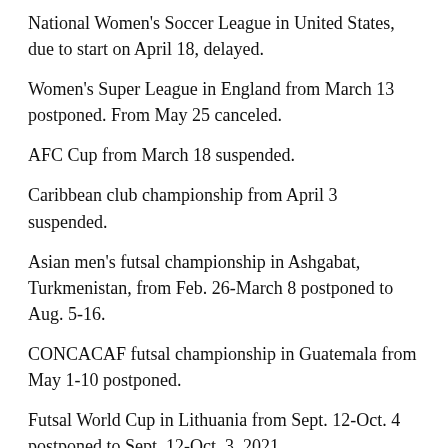National Women's Soccer League in United States, due to start on April 18, delayed.
Women's Super League in England from March 13 postponed. From May 25 canceled.
AFC Cup from March 18 suspended.
Caribbean club championship from April 3 suspended.
Asian men's futsal championship in Ashgabat, Turkmenistan, from Feb. 26-March 8 postponed to Aug. 5-16.
CONCACAF futsal championship in Guatemala from May 1-10 postponed.
Futsal World Cup in Lithuania from Sept. 12-Oct. 4 postponed to Sept. 12-Oct. 3, 2021.
Qatar Airways International in Doha with Belgium, Croatia,